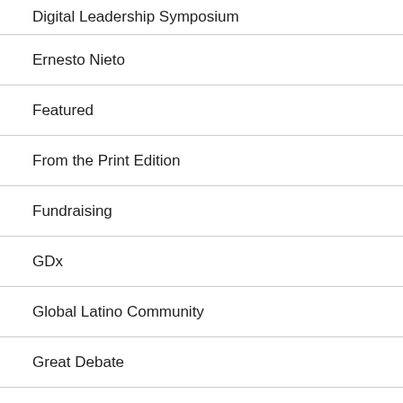Digital Leadership Symposium
Ernesto Nieto
Featured
From the Print Edition
Fundraising
GDx
Global Latino Community
Great Debate
JFL Fellows